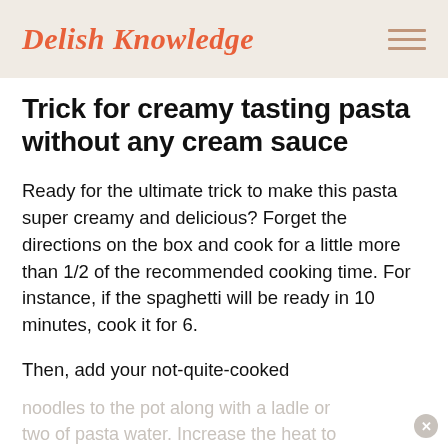Delish Knowledge
Trick for creamy tasting pasta without any cream sauce
Ready for the ultimate trick to make this pasta super creamy and delicious? Forget the directions on the box and cook for a little more than 1/2 of the recommended cooking time. For instance, if the spaghetti will be ready in 10 minutes, cook it for 6.
Then, add your not-quite-cooked noodles to the pot along with a ladle or two of pasta water. Increase the heat to